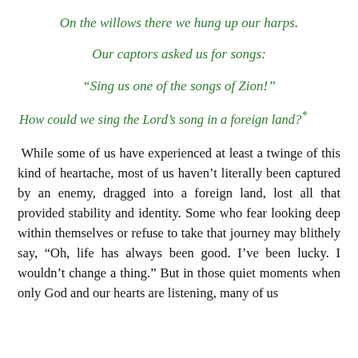On the willows there we hung up our harps.
Our captors asked us for songs:
“Sing us one of the songs of Zion!”
How could we sing the Lord’s song in a foreign land?°
While some of us have experienced at least a twinge of this kind of heartache, most of us haven’t literally been captured by an enemy, dragged into a foreign land, lost all that provided stability and identity. Some who fear looking deep within themselves or refuse to take that journey may blithely say, “Oh, life has always been good. I’ve been lucky. I wouldn’t change a thing.” But in those quiet moments when only God and our hearts are listening, many of us